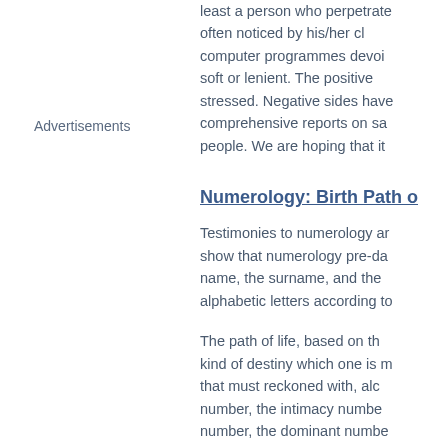least a person who perpetrate often noticed by his/her cl computer programmes devoi soft or lenient. The positive stressed. Negative sides have comprehensive reports on sa people. We are hoping that it
Advertisements
Numerology: Birth Path o
Testimonies to numerology ar show that numerology pre-da name, the surname, and the alphabetic letters according to
The path of life, based on th kind of destiny which one is m that must reckoned with, alc number, the intimacy numbe number, the dominant numbe